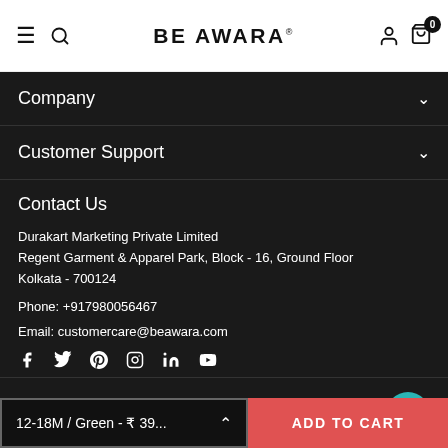BE AWARA
Company
Customer Support
Contact Us
Durakart Marketing Private Limited
Regent Garment & Apparel Park, Block - 16, Ground Floor
Kolkata - 700124
Phone: +917980056467
Email: customercare@beawara.com
Download App
12-18M / Green - ₹ 39...
ADD TO CART